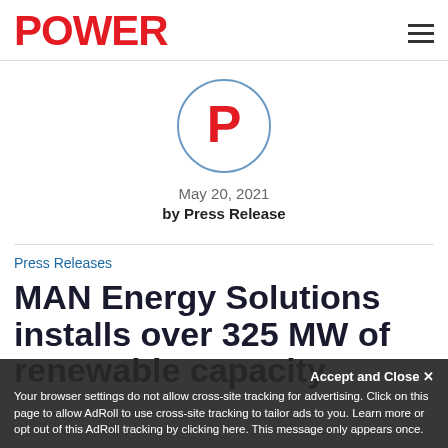POWER
[Figure (logo): POWER magazine circular logo with red letter P inside a circle with blue-grey border]
May 20, 2021
by Press Release
Press Releases
MAN Energy Solutions installs over 325 MW of renewable capacity
Accept and Close ×
Your browser settings do not allow cross-site tracking for advertising. Click on this page to allow AdRoll to use cross-site tracking to tailor ads to you. Learn more or opt out of this AdRoll tracking by clicking here. This message only appears once.